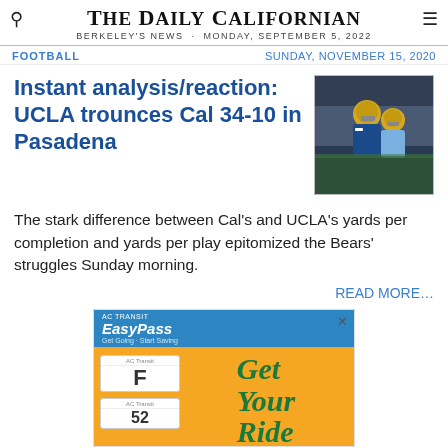THE DAILY CALIFORNIAN
BERKELEY'S NEWS · MONDAY, SEPTEMBER 5, 2022
FOOTBALL
SUNDAY, NOVEMBER 15, 2020
Instant analysis/reaction: UCLA trounces Cal 34-10 in Pasadena
[Figure (photo): Football players in yellow/green helmets on field]
The stark difference between Cal's and UCLA's yards per completion and yards per play epitomized the Bears' struggles Sunday morning.
READ MORE…
[Figure (other): AC Transit EasyPass advertisement - Get Your Ride]